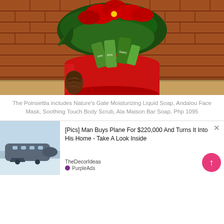[Figure (photo): A red cylindrical hat box containing green beauty/skincare products (tubes labeled '2chic' and 'Saavy'), surrounded by pine cones, greenery, and red poinsettia flowers, set against a brick wall background.]
The Poinsettia includes Nature's Gate Moisturizing Liquid Soap, Andalou Face Mask, Soothing Touch Body Scrub, Ala Maison Bar Soap. Php 1095
A season of health and beauty
For more personalized gift-giving, customers can curate their own holiday hampers by selecting from a wide variety of natural, organic food items and personal care products from Healthy Options. Healt
[Figure (screenshot): Advertisement overlay: '[Pics] Man Buys Plane For $220,000 And Turns It Into His Home - Take A Look Inside' from TheDecorIdeas, with PurpleAds branding. Shows image of a plane converted to a home.]
Natural Beauty Picks for Christmas